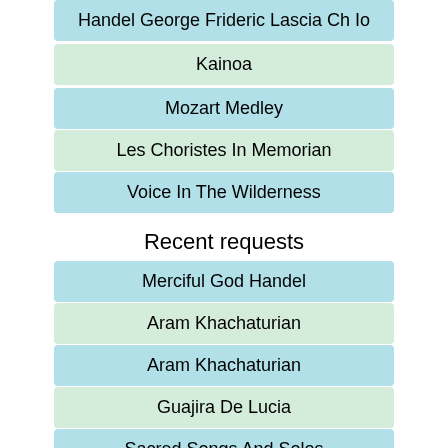Handel George Frideric Lascia Ch Io
Kainoa
Mozart Medley
Les Choristes In Memorian
Voice In The Wilderness
Recent requests
Merciful God Handel
Aram Khachaturian
Aram Khachaturian
Guajira De Lucia
Sacred Songs And Solos